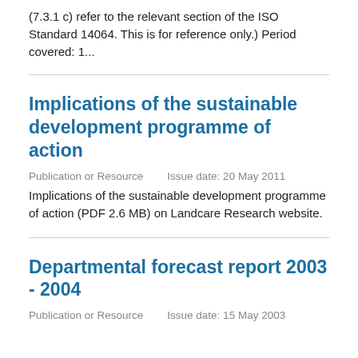(7.3.1 c) refer to the relevant section of the ISO Standard 14064. This is for reference only.) Period covered: 1...
Implications of the sustainable development programme of action
Publication or Resource    Issue date: 20 May 2011
Implications of the sustainable development programme of action (PDF 2.6 MB) on Landcare Research website.
Departmental forecast report 2003 - 2004
Publication or Resource    Issue date: 15 May 2003